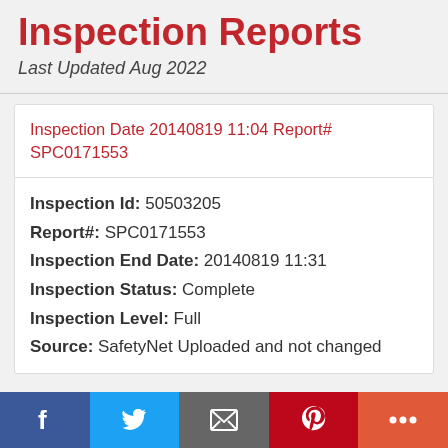Inspection Reports
Last Updated Aug 2022
Inspection Date 20140819 11:04 Report# SPC0171553
Inspection Id: 50503205
Report#: SPC0171553
Inspection End Date: 20140819 11:31
Inspection Status: Complete
Inspection Level: Full
Source: SafetyNet Uploaded and not changed
Social share bar: Facebook, Twitter, Email, Pinterest, More